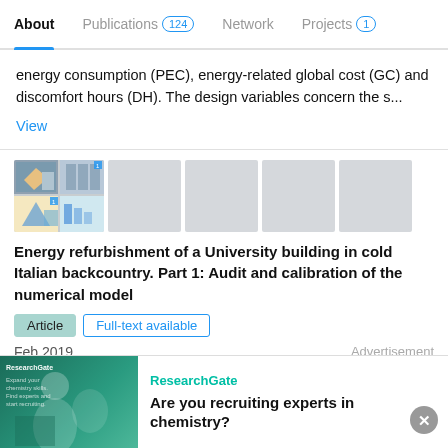About | Publications 124 | Network | Projects 1
energy consumption (PEC), energy-related global cost (GC) and discomfort hours (DH). The design variables concern the s...
View
[Figure (photo): Thumbnail image strip showing aerial/3D building views and building energy diagrams for a university building]
Energy refurbishment of a University building in cold Italian backcountry. Part 1: Audit and calibration of the numerical model
Article   Full-text available
Feb 2019
Advertisement
[Figure (photo): ResearchGate advertisement banner: Are you recruiting experts in chemistry?]